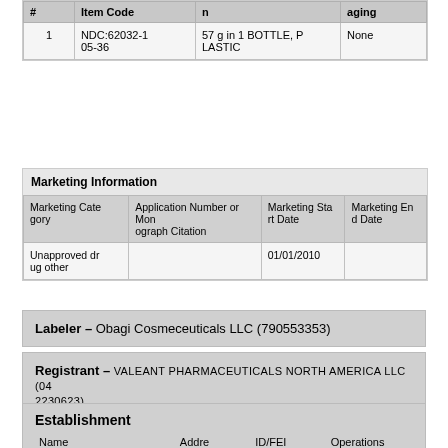| # | Item Code | n | aging |
| --- | --- | --- | --- |
| 1 | NDC:62032-105-36 | 57 g in 1 BOTTLE, PLASTIC | None |
Marketing Information
| Marketing Category | Application Number or Monograph Citation | Marketing Start Date | Marketing End Date |
| --- | --- | --- | --- |
| Unapproved drug other |  | 01/01/2010 |  |
Labeler – Obagi Cosmeceuticals LLC (790553353)
Registrant – VALEANT PHARMACEUTICALS NORTH AMERICA LLC (042230623)
Establishment
| Name | Address | ID/FEI | Operations |
| --- | --- | --- | --- |